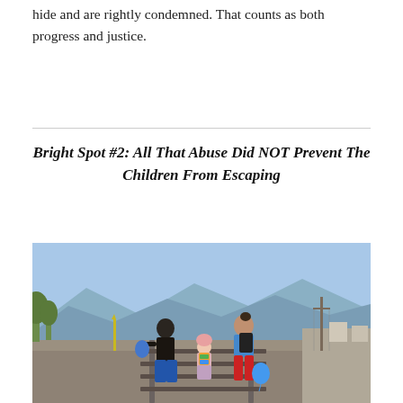hide and are rightly condemned. That counts as both progress and justice.
Bright Spot #2: All That Abuse Did NOT Prevent The Children From Escaping
[Figure (photo): A family of three — a man in a black shirt and jeans, a small child with a colorful backpack, and a woman in a blue jacket and red pants with a black backpack — walking along railroad tracks viewed from behind, with mountains in the background and a road alongside.]